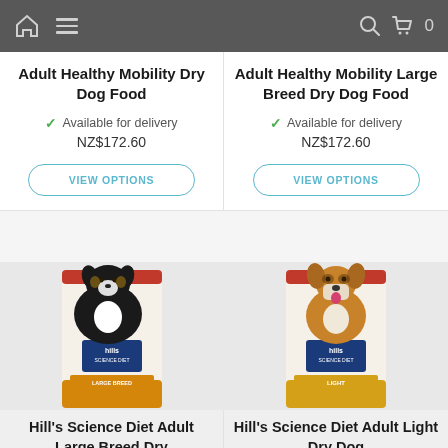Navigation bar with home, menu, search, cart (0)
Adult Healthy Mobility Dry Dog Food
Available for delivery
NZ$172.60
Adult Healthy Mobility Large Breed Dry Dog Food
Available for delivery
NZ$172.60
[Figure (photo): Hill's Science Diet Adult Large Breed dry dog food bag with a large black, white and brown dog]
Hill's Science Diet Adult Large Breed Dry
[Figure (photo): Hill's Science Diet Adult Light dry dog food bag with a brown and white boxer dog]
Hill's Science Diet Adult Light Dry Dog